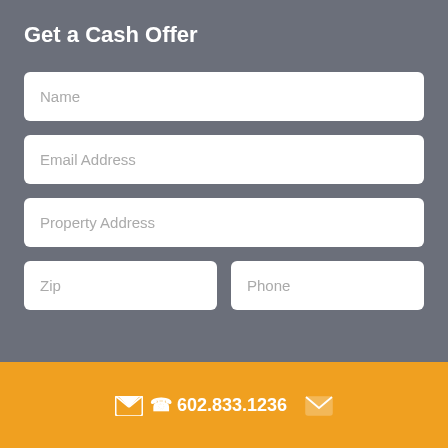Get a Cash Offer
Name
Email Address
Property Address
Zip
Phone
602.833.1236